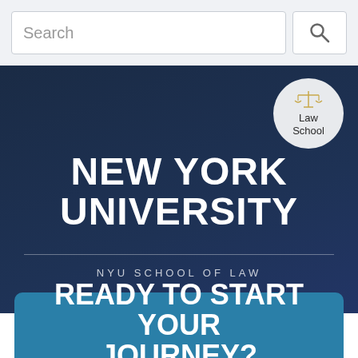Search
[Figure (logo): Law School circular badge with scales of justice icon and text 'Law School']
NEW YORK UNIVERSITY
NYU SCHOOL OF LAW
READY TO START YOUR JOURNEY?